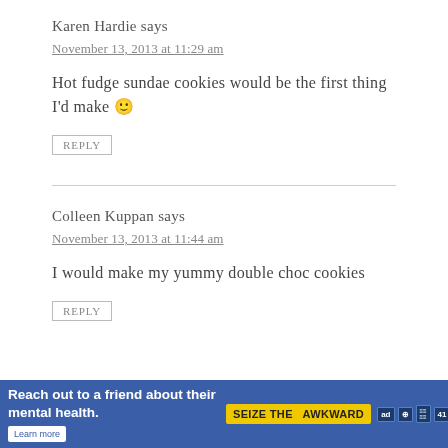Karen Hardie says
November 13, 2013 at 11:29 am
Hot fudge sundae cookies would be the first thing I'd make 🙂
REPLY
Colleen Kuppan says
November 13, 2013 at 11:44 am
I would make my yummy double choc cookies
REPLY
[Figure (other): Advertisement banner: 'Reach out to a friend about their mental health. Learn more' with Seize the Awkward badge and sponsor logos]